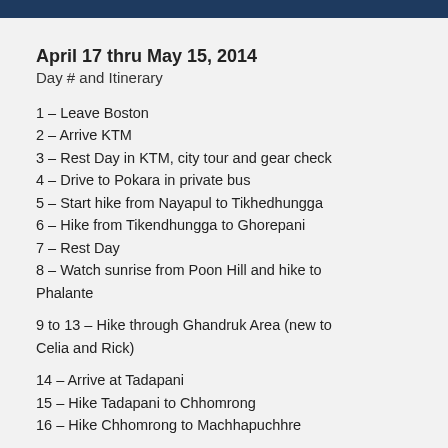April 17 thru May 15, 2014
Day # and Itinerary
1 – Leave Boston
2 – Arrive KTM
3 – Rest Day in KTM, city tour and gear check
4 – Drive to Pokara in private bus
5 – Start hike from Nayapul to Tikhedhungga
6 – Hike from Tikendhungga to Ghorepani
7 – Rest Day
8 – Watch sunrise from Poon Hill and hike to Phalante
9 to 13 – Hike through Ghandruk Area (new to Celia and Rick)
14 – Arrive at Tadapani
15 – Hike Tadapani to Chhomrong
16 – Hike Chhomrong to Machhapuchhre